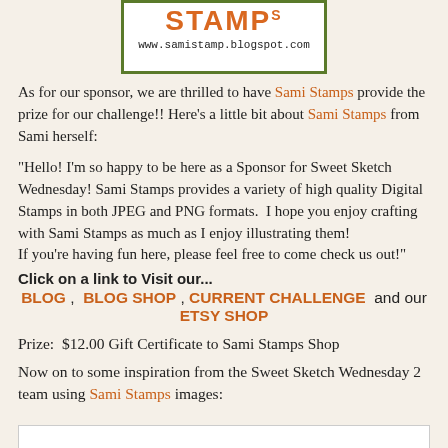[Figure (logo): Sami Stamps logo with orange stamp-style text and URL www.samistamp.blogspot.com in a green-bordered box]
As for our sponsor, we are thrilled to have Sami Stamps provide the prize for our challenge!! Here's a little bit about Sami Stamps from Sami herself:
"Hello! I'm so happy to be here as a Sponsor for Sweet Sketch Wednesday! Sami Stamps provides a variety of high quality Digital Stamps in both JPEG and PNG formats.  I hope you enjoy crafting with Sami Stamps as much as I enjoy illustrating them!
If you're having fun here, please feel free to come check us out!"
Click on a link to Visit our...
BLOG ,  BLOG SHOP , CURRENT CHALLENGE  and our  ETSY SHOP
Prize:  $12.00 Gift Certificate to Sami Stamps Shop
Now on to some inspiration from the Sweet Sketch Wednesday 2 team using Sami Stamps images:
[Figure (other): Bottom partial image strip, white background, beginning of next section]